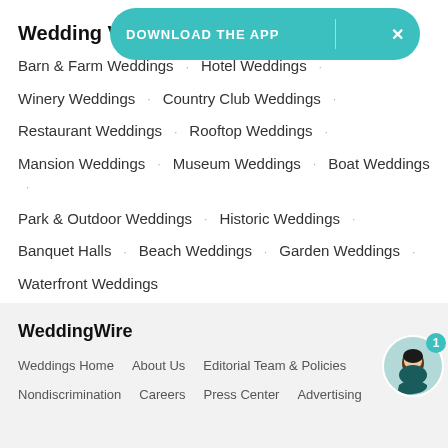[Figure (screenshot): DOWNLOAD THE APP banner with teal rounded rectangle background and close X button]
Wedding V
Barn & Farm Weddings · Hotel Weddings ·
Winery Weddings · Country Club Weddings ·
Restaurant Weddings · Rooftop Weddings ·
Mansion Weddings · Museum Weddings · Boat Weddings ·
Park & Outdoor Weddings · Historic Weddings ·
Banquet Halls · Beach Weddings · Garden Weddings ·
Waterfront Weddings
WeddingWire
Weddings Home   About Us   Editorial Team & Policies
Nondiscrimination   Careers   Press Center   Advertising